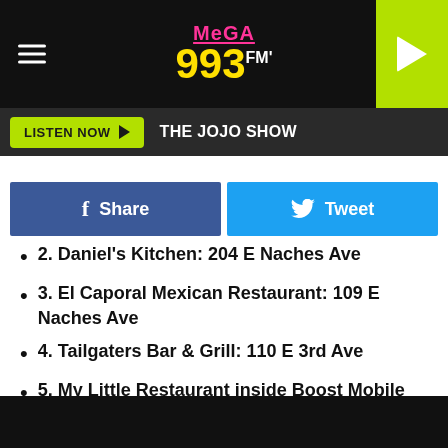[Figure (logo): Mega 993 FM radio station logo with hamburger menu and play button]
LISTEN NOW ▶   THE JOJO SHOW
[Figure (other): Facebook Share and Twitter Tweet buttons]
2. Daniel's Kitchen: 204 E Naches Ave
3. El Caporal Mexican Restaurant: 109 E Naches Ave
4. Tailgaters Bar & Grill: 110 E 3rd Ave
5. My Little Restaurant inside Boost Mobile Store: 101 S 1st St